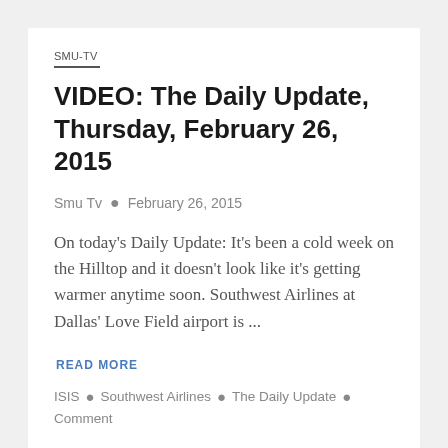SMU-TV
VIDEO: The Daily Update, Thursday, February 26, 2015
Smu Tv  •  February 26, 2015
On today's Daily Update: It's been a cold week on the Hilltop and it doesn't look like it's getting warmer anytime soon. Southwest Airlines at Dallas' Love Field airport is ...
READ MORE
ISIS  •  Southwest Airlines  •  The Daily Update  •  Comment
Advertisement